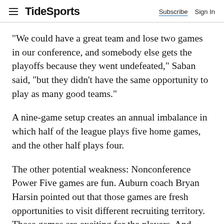TideSports | Subscribe  Sign In
"We could have a great team and lose two games in our conference, and somebody else gets the playoffs because they went undefeated," Saban said, "but they didn't have the same opportunity to play as many good teams."
A nine-game setup creates an annual imbalance in which half of the league plays five home games, and the other half plays four.
The other potential weakness: Nonconference Power Five games are fun. Auburn coach Bryan Harsin pointed out that those games are fresh opportunities to visit different recruiting territory. Those games are exciting for the players. And